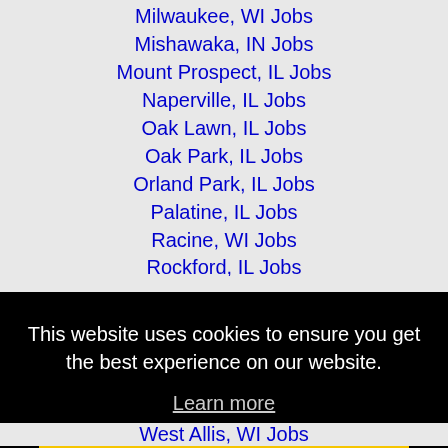Milwaukee, WI Jobs
Mishawaka, IN Jobs
Mount Prospect, IL Jobs
Naperville, IL Jobs
Oak Lawn, IL Jobs
Oak Park, IL Jobs
Orland Park, IL Jobs
Palatine, IL Jobs
Racine, WI Jobs
Rockford, IL Jobs
This website uses cookies to ensure you get the best experience on our website.
Learn more
Got it!
West Allis, WI Jobs